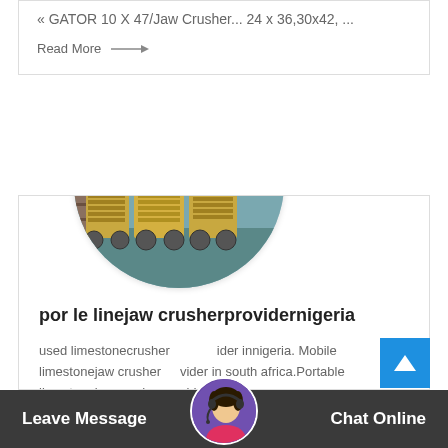« GATOR 10 X 47/Jaw Crusher... 24 x 36,30x42, ...
Read More →
[Figure (photo): Circular photo of yellow industrial jaw crushers in a factory/warehouse setting, crane visible in background.]
por le linejaw crusherprovidernigeria
used limestonecrusher provider innigeria. Mobile limestonejaw crusher provider in south africa.Portable limestonejaw crusherprovider in...
Leave Message
[Figure (photo): Avatar of a woman wearing a headset, used as chat support icon.]
Chat Online